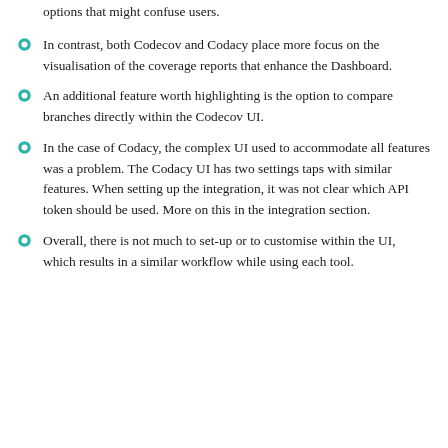options that might confuse users.
In contrast, both Codecov and Codacy place more focus on the visualisation of the coverage reports that enhance the Dashboard.
An additional feature worth highlighting is the option to compare branches directly within the Codecov UI.
In the case of Codacy, the complex UI used to accommodate all features was a problem. The Codacy UI has two settings taps with similar features. When setting up the integration, it was not clear which API token should be used. More on this in the integration section.
Overall, there is not much to set-up or to customise within the UI, which results in a similar workflow while using each tool.